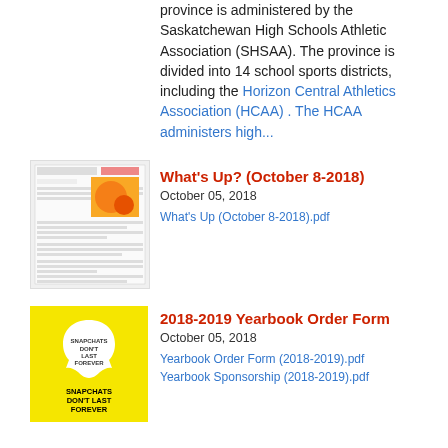province is administered by the Saskatchewan High Schools Athletic Association (SHSAA). The province is divided into 14 school sports districts, including the Horizon Central Athletics Association (HCAA) . The HCAA administers high...
[Figure (screenshot): Thumbnail of What's Up newsletter document]
What's Up? (October 8-2018)
October 05, 2018
What's Up (October 8-2018).pdf
[Figure (illustration): Yellow yearbook promotional image with Snapchat ghost graphic and text: SNAPCHATS DON'T LAST FOREVER BUT YEARBOOKS DO!]
2018-2019 Yearbook Order Form
October 05, 2018
Yearbook Order Form (2018-2019).pdf
Yearbook Sponsorship (2018-2019).pdf